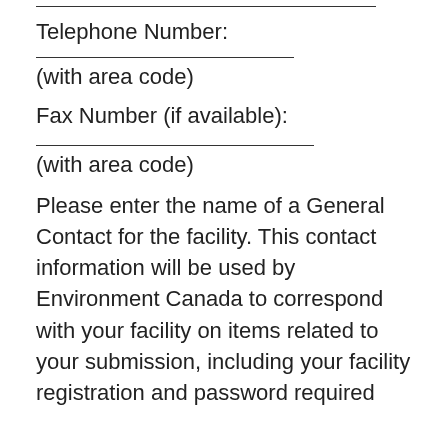Telephone Number:
(with area code)
Fax Number (if available):
(with area code)
Please enter the name of a General Contact for the facility. This contact information will be used by Environment Canada to correspond with your facility on items related to your submission, including your facility registration and password required